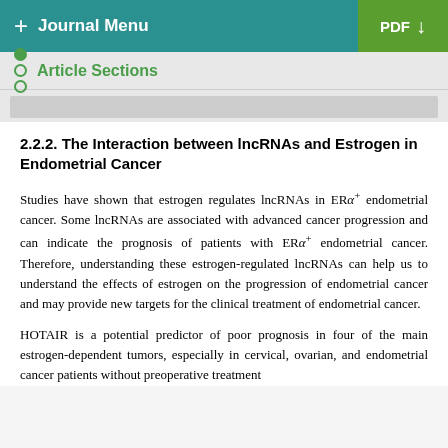+ Journal Menu  PDF ↓
Article Sections
2.2.2. The Interaction between lncRNAs and Estrogen in Endometrial Cancer
Studies have shown that estrogen regulates lncRNAs in ERα+ endometrial cancer. Some lncRNAs are associated with advanced cancer progression and can indicate the prognosis of patients with ERα+ endometrial cancer. Therefore, understanding these estrogen-regulated lncRNAs can help us to understand the effects of estrogen on the progression of endometrial cancer and may provide new targets for the clinical treatment of endometrial cancer.
HOTAIR is a potential predictor of poor prognosis in four of the main estrogen-dependent tumors, especially in cervical, ovarian, and endometrial cancer patients without preoperative treatment